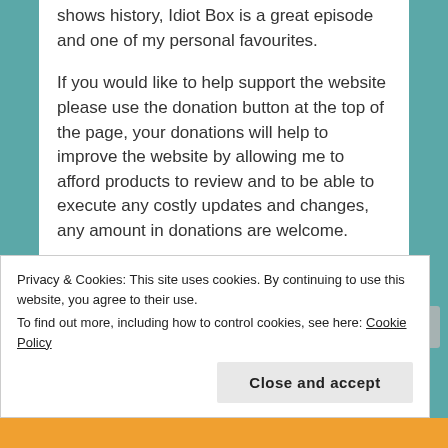shows history, Idiot Box is a great episode and one of my personal favourites.
If you would like to help support the website please use the donation button at the top of the page, your donations will help to improve the website by allowing me to afford products to review and to be able to execute any costly updates and changes, any amount in donations are welcome.
Thank You for all of your support.
Want me to review a specific game/movie/product
Privacy & Cookies: This site uses cookies. By continuing to use this website, you agree to their use.
To find out more, including how to control cookies, see here: Cookie Policy
Close and accept